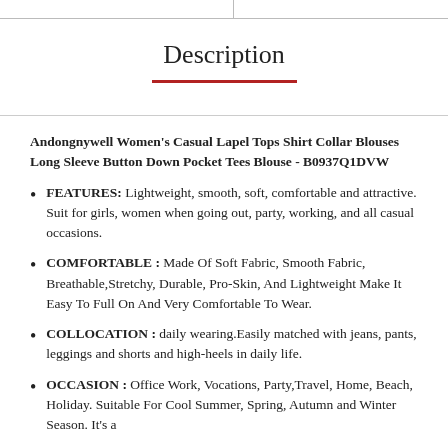Description
Andongnywell Women's Casual Lapel Tops Shirt Collar Blouses Long Sleeve Button Down Pocket Tees Blouse - B0937Q1DVW
FEATURES: Lightweight, smooth, soft, comfortable and attractive. Suit for girls, women when going out, party, working, and all casual occasions.
COMFORTABLE : Made Of Soft Fabric, Smooth Fabric, Breathable,Stretchy, Durable, Pro-Skin, And Lightweight Make It Easy To Full On And Very Comfortable To Wear.
COLLOCATION : daily wearing.Easily matched with jeans, pants, leggings and shorts and high-heels in daily life.
OCCASION : Office Work, Vocations, Party,Travel, Home, Beach, Holiday. Suitable For Cool Summer, Spring, Autumn and Winter Season. It's a